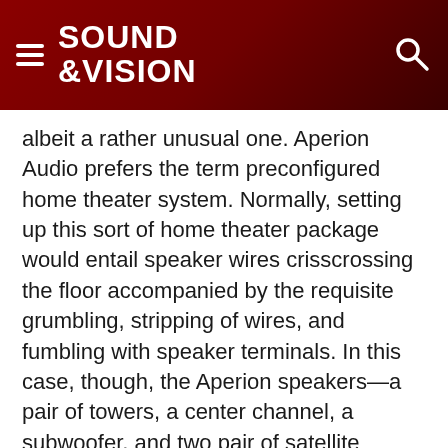SOUND &VISION
albeit a rather unusual one. Aperion Audio prefers the term preconfigured home theater system. Normally, setting up this sort of home theater package would entail speaker wires crisscrossing the floor accompanied by the requisite grumbling, stripping of wires, and fumbling with speaker terminals. In this case, though, the Aperion speakers—a pair of towers, a center channel, a subwoofer, and two pair of satellite speakers—come out of their boxes, get placed in their appropriate spots in the room, have each one's power cord plugged into the nearest AC outlet…and that's it.
Continue Reading »